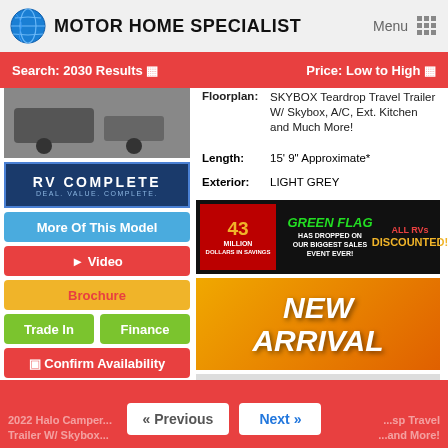MOTOR HOME SPECIALIST
Search: 2030 Results  |  Price: Low to High
Floorplan: SKYBOX Teardrop Travel Trailer W/ Skybox, A/C, Ext. Kitchen and Much More!
Length: 15' 9" Approximate*
Exterior: LIGHT GREY
[Figure (screenshot): RV Complete logo badge - dark blue background with RV COMPLETE text]
More Of This Model
Video
Brochure
Trade In  Finance
Confirm Availability
Call Today! 800-335-6054
[Figure (screenshot): Green Flag promotional banner - 43 Million Dollars in Savings, Green Flag has dropped on our biggest sales event ever, All RVs Discounted]
[Figure (screenshot): New Arrival badge on orange/gold gradient background]
[Figure (screenshot): Clearance Unit badge on grey background]
MHSRV Sale Price: $27,499
2022 Halo Camper... Travel Trailer W/ Skybox... « Previous  Next »